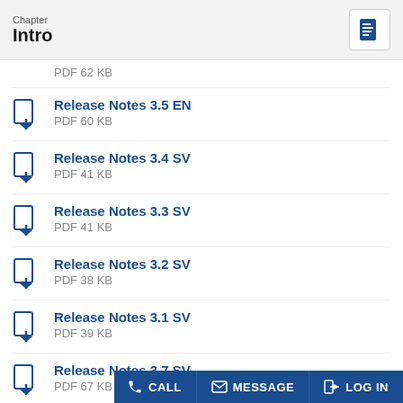Chapter Intro
PDF 62 KB
Release Notes 3.5 EN
PDF 60 KB
Release Notes 3.4 SV
PDF 41 KB
Release Notes 3.3 SV
PDF 41 KB
Release Notes 3.2 SV
PDF 38 KB
Release Notes 3.1 SV
PDF 39 KB
Release Notes 3.7 SV
PDF 67 KB